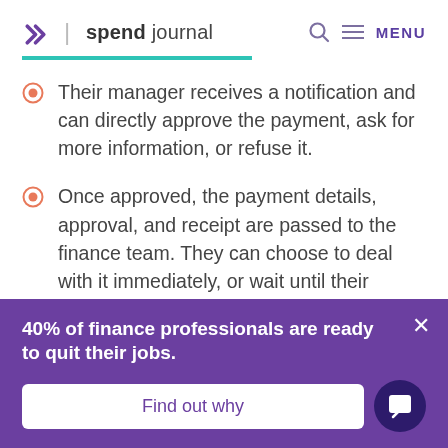spend journal | MENU
Their manager receives a notification and can directly approve the payment, ask for more information, or refuse it.
Once approved, the payment details, approval, and receipt are passed to the finance team. They can choose to deal with it immediately, or wait until their regular
40% of finance professionals are ready to quit their jobs.
Find out why